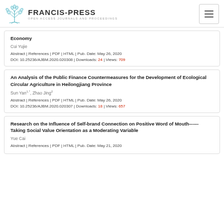FRANCIS-PRESS — OPEN ACCESS JOURNALS AND PROCEEDINGS
Economy
Cui Yujie
Abstract | References | PDF | HTML | Pub. Date: May 26, 2020
DOI: 10.25236/AJBM.2020.020308 | Downloads: 24 | Views: 709
An Analysis of the Public Finance Countermeasures for the Development of Ecological Circular Agriculture in Heilongjiang Province
Sun Yan1,*, Zhao Jing2
Abstract | References | PDF | HTML | Pub. Date: May 26, 2020
DOI: 10.25236/AJBM.2020.020307 | Downloads: 18 | Views: 657
Research on the Influence of Self-brand Connection on Positive Word of Mouth------Taking Social Value Orientation as a Moderating Variable
Yue Cai
Abstract | References | PDF | HTML | Pub. Date: May 21, 2020